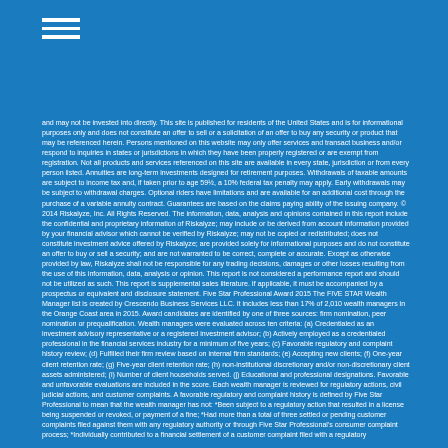Menu icon (three horizontal lines)
and may not be invested into directly. This site is published for residents of the United States and is for informational purposes only and does not constitute an offer to sell or a solicitation of an offer to buy any security or product that may be referenced herein. Persons mentioned on this website may only offer services and transact business and/or respond to inquiries in states or jurisdictions in which they have been properly registered or are exempt from registration. Not all products and services referenced on this site are available in every state, jurisdiction or from every person listed. Annuities are long-term investments designed for retirement purposes. Withdrawals of taxable amounts are subject to income tax and, if taken prior to age 59½, a 10% federal tax penalty may apply. Early withdrawals may be subject to withdrawal charges. Optional riders have limitations and are available for an additional cost through the purchase of a variable annuity contract. Guarantees are based on the claims paying ability of the issuing company. © 2014 Riskalyze, Inc. All Rights Reserved. The information, data, analysis and opinions contained in this report include the confidential and proprietary information of Riskalyze; may include or be derived from account information provided by your financial advisor which cannot be verified by Riskalyze; may not be copied or redistributed; does not constitute investment advice offered by Riskalyze; are provided solely for informational purposes and do not constitute an offer to buy or sell a security; and are not warranted to be correct, complete or accurate. Except as otherwise provided by law, Riskalyze shall not be responsible for any trading decisions, damages or other losses resulting from the use of this information, data, analysis or opinion. This report is not considered a performance report and should not be utilized as such. This report is supplemental sales literature. If applicable, it must be accompanied by a prospectus or equivalent and disclosure statement. Five Star Professional Award 2015 The FIVE STAR Wealth Manager list is created by Crescendo Business Services LLC. It includes less than 17% of 2,010 wealth managers in the Orange Coast area in 2015. Award candidates are identified by one of three sources: firm nomination, peer nomination or prequalification. Wealth managers were evaluated across ten criteria: (a) Credentialed as an investment advisory representative or a registered investment advisor; (b) Actively employed as a credentialed professional in the financial services industry for a minimum of five years; (c) Favorable regulatory and complaint history review; (d) Fulfilled their firm review based on internal firm standards; (e) Accepting new clients; (f) One-year client retention rate; (g) Five-year client retention rate; (h) non-institutional discretionary and/or non-discretionary client assets administered; (i) Number of client households served. (j) Educational and professional designations. Favorable and unfavorable evaluations are included in the score. Each wealth manager is reviewed for regulatory actions, civil judicial actions, and customer complaints. A favorable regulatory and complaint history is defined by Five Star Professional to mean that the wealth manager has not: *Been subject to a regulatory action that resulted in a license being suspended or revoked, or payment of a fine; *Had more than a total of three settled or pending customer complaints filed against them with any regulatory authority or through Five Star Professional's consumer complaint process; *Individually contributed to a financial settlement of a customer complaint filed with a regulatory complaint process;